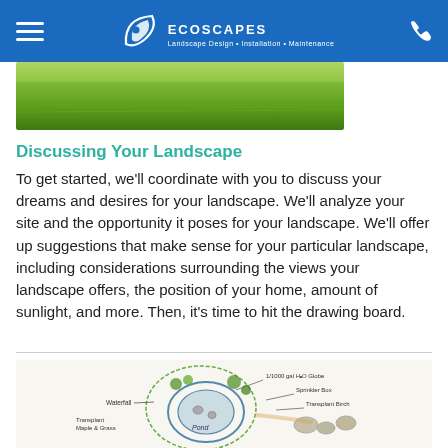EcoScapes — Landscape Design + Installation + Maintenance
[Figure (photo): Green lawn photo strip]
Discussing Your Landscape
To get started, we'll coordinate with you to discuss your dreams and desires for your landscape. We'll analyze your site and the opportunity it poses for your landscape. We'll offer up suggestions that make sense for your particular landscape, including considerations surrounding the views your landscape offers, the position of your home, amount of sunlight, and more. Then, it's time to hit the drawing board.
[Figure (illustration): Hand-drawn landscape design sketch showing a pond/water feature with labels: Waterfall, Transplant maple & grass, 1/1000 gal H2O globe, Sprinkler box, Transplant birch, Pond]